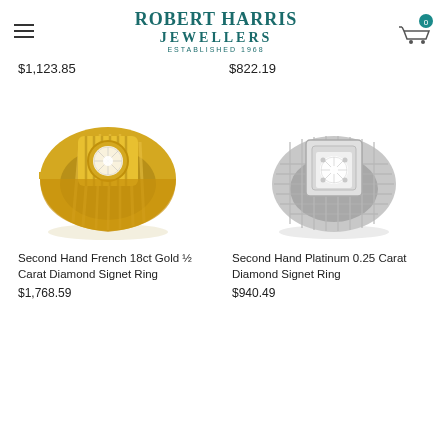ROBERT HARRIS JEWELLERS ESTABLISHED 1968
$1,123.85
$822.19
[Figure (photo): Second Hand French 18ct Gold ½ Carat Diamond Signet Ring - yellow gold ribbed band with bezel-set round diamond]
[Figure (photo): Second Hand Platinum 0.25 Carat Diamond Signet Ring - platinum gridded band with prong-set round diamond in square setting]
Second Hand French 18ct Gold ½ Carat Diamond Signet Ring
$1,768.59
Second Hand Platinum 0.25 Carat Diamond Signet Ring
$940.49